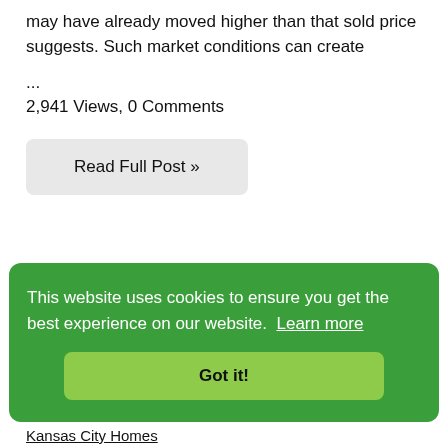may have already moved higher than that sold price suggests. Such market conditions can create
...
2,941 Views, 0 Comments
Read Full Post »
This website uses cookies to ensure you get the best experience on our website. Learn more
Got it!
Kansas City Homes